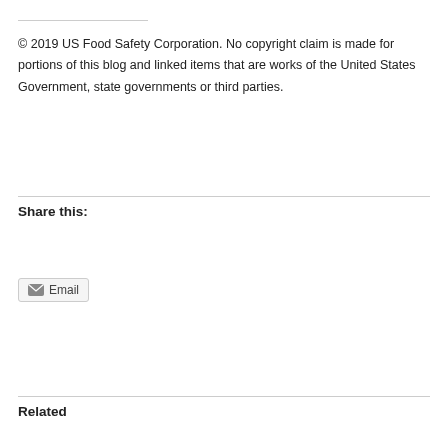© 2019 US Food Safety Corporation. No copyright claim is made for portions of this blog and linked items that are works of the United States Government, state governments or third parties.
Share this:
Email
Related